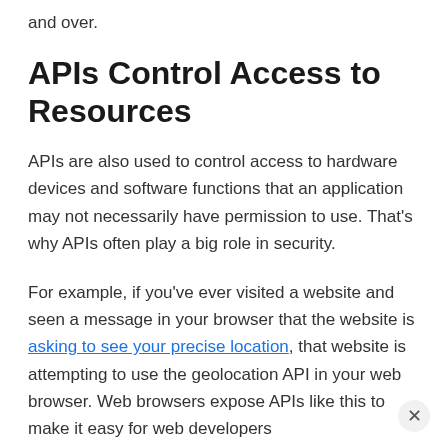and over.
APIs Control Access to Resources
APIs are also used to control access to hardware devices and software functions that an application may not necessarily have permission to use. That’s why APIs often play a big role in security.
For example, if you’ve ever visited a website and seen a message in your browser that the website is asking to see your precise location, that website is attempting to use the geolocation API in your web browser. Web browsers expose APIs like this to make it easy for web developers